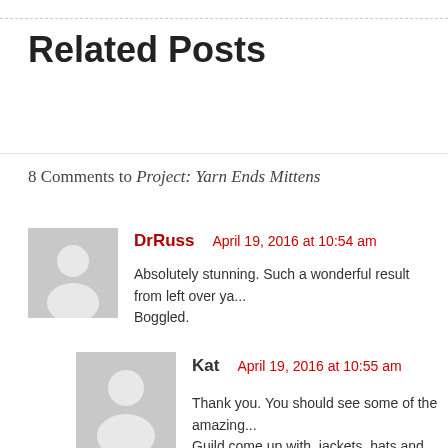Related Posts
8 Comments to Project: Yarn Ends Mittens
DrRuss   April 19, 2016 at 10:54 am
Absolutely stunning. Such a wonderful result from left over ya... Boggled.
Kat   April 19, 2016 at 10:55 am
Thank you. You should see some of the amazing... Guild come up with, jackets, hats and so on....